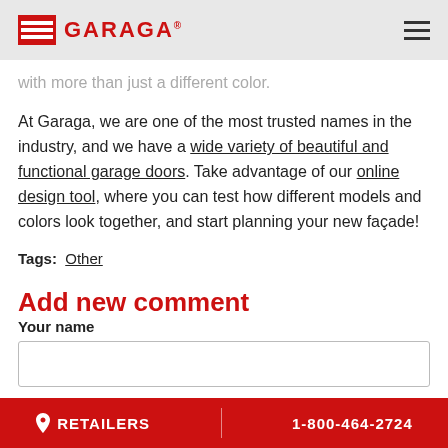GARAGA
with more than just a different color.
At Garaga, we are one of the most trusted names in the industry, and we have a wide variety of beautiful and functional garage doors. Take advantage of our online design tool, where you can test how different models and colors look together, and start planning your new façade!
Tags: Other
Add new comment
Your name
Subject
RETAILERS | 1-800-464-2724